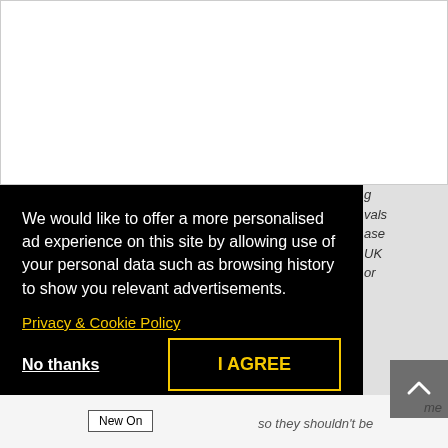[Figure (screenshot): White blank area at top of page, representing a web page content area or advertisement space.]
We would like to offer a more personalised ad experience on this site by allowing use of your personal data such as browsing history to show you relevant advertisements.
Privacy & Cookie Policy
No thanks
I AGREE
g vals ase UK or
New On
so they shouldn't be
me